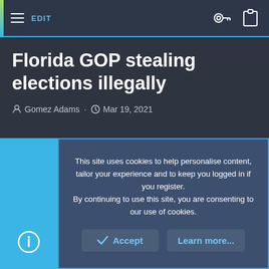EDIT
Florida GOP stealing elections illegally
Gomez Adams · Mar 19, 2021
This site uses cookies to help personalise content, tailor your experience and to keep you logged in if you register. By continuing to use this site, you are consenting to our use of cookies.
Accept
Learn more...